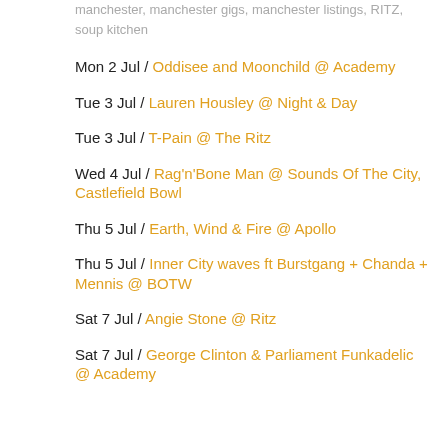manchester, manchester gigs, manchester listings, RITZ, soup kitchen
Mon 2 Jul / Oddisee and Moonchild @ Academy
Tue 3 Jul / Lauren Housley @ Night & Day
Tue 3 Jul / T-Pain @ The Ritz
Wed 4 Jul / Rag'n'Bone Man @ Sounds Of The City, Castlefield Bowl
Thu 5 Jul / Earth, Wind & Fire @ Apollo
Thu 5 Jul / Inner City waves ft Burstgang + Chanda + Mennis @ BOTW
Sat 7 Jul / Angie Stone @ Ritz
Sat 7 Jul / George Clinton & Parliament Funkadelic @ Academy